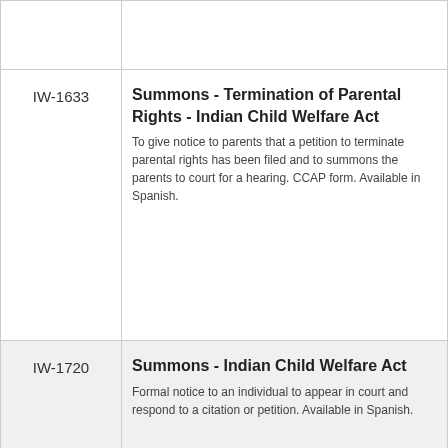| Form Number | Description |
| --- | --- |
|  |  |
| IW-1633 | Summons - Termination of Parental Rights - Indian Child Welfare Act
To give notice to parents that a petition to terminate parental rights has been filed and to summons the parents to court for a hearing. CCAP form. Available in Spanish. |
| IW-1720 | Summons - Indian Child Welfare Act
Formal notice to an individual to appear in court and respond to a citation or petition. Available in Spanish. |